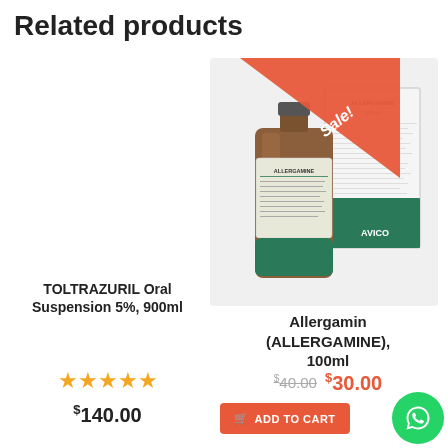Related products
[Figure (photo): Allergamin (ALLERGAMINE) 100ml product – amber bottle and white/green box with Sale! ribbon badge]
Allergamin (ALLERGAMINE), 100ml
$40.00  $30.00
TOLTRAZURIL Oral Suspension 5%, 900ml
★★★★★
$140.00